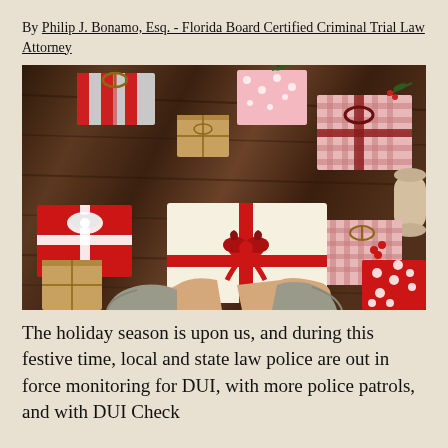By Philip J. Bonamo, Esq. - Florida Board Certified Criminal Trial Law Attorney
[Figure (photo): Overhead photo of multiple wrapped Christmas gift boxes on a wooden table surface, with a pair of hands holding a large cream-colored gift box with a red ribbon and bow in the center. Various other gifts wrapped in red, brown kraft paper, and plaid patterns surround it.]
The holiday season is upon us, and during this festive time, local and state law police are out in force monitoring for DUI, with more police patrols, and with DUI Check